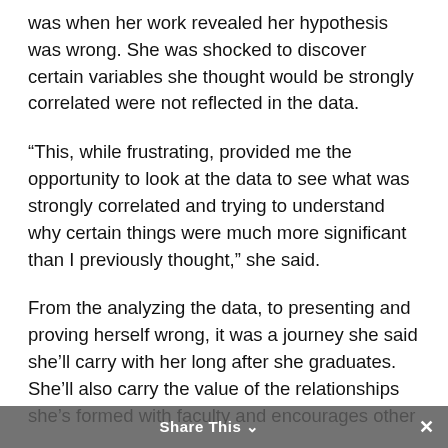was when her work revealed her hypothesis was wrong. She was shocked to discover certain variables she thought would be strongly correlated were not reflected in the data.
“This, while frustrating, provided me the opportunity to look at the data to see what was strongly correlated and trying to understand why certain things were much more significant than I previously thought,” she said.
From the analyzing the data, to presenting and proving herself wrong, it was a journey she said she’ll carry with her long after she graduates. She’ll also carry the value of the relationships she’s formed with faculty and encourages other
Share This